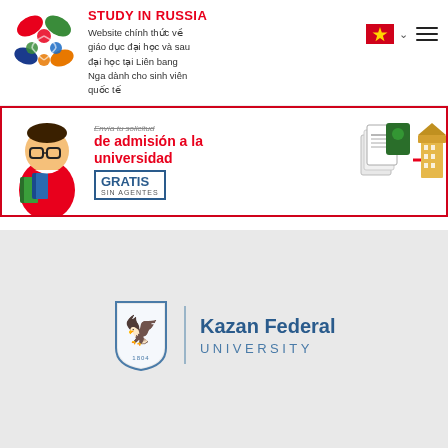STUDY IN RUSSIA — Website chính thức về giáo dục đại học và sau đại học tại Liên bang Nga dành cho sinh viên quốc tế
[Figure (infographic): Advertisement banner: Animated character with glasses holding books, text 'Envía tu solicitud de admisión a la universidad GRATIS SIN AGENTES', illustration of documents and university building]
[Figure (logo): Kazan Federal University logo — shield emblem with griffin on left, vertical divider, text 'Kazan Federal UNIVERSITY' on right]